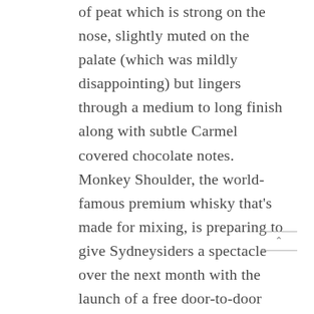of peat which is strong on the nose, slightly muted on the palate (which was mildly disappointing) but lingers through a medium to long finish along with subtle Carmel covered chocolate notes. Monkey Shoulder, the world-famous premium whisky that's made for mixing, is preparing to give Sydneysiders a spectacle over the next month with the launch of a free door-to-door cocktail delivery service in partnership with